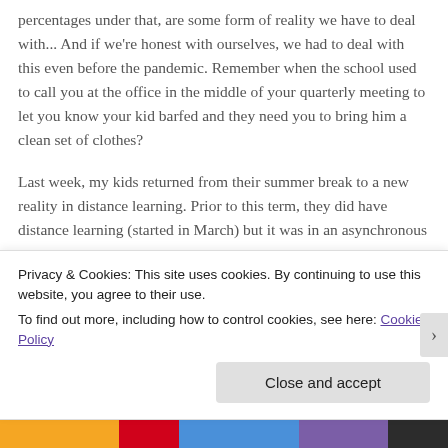percentages under that, are some form of reality we have to deal with... And if we're honest with ourselves, we had to deal with this even before the pandemic. Remember when the school used to call you at the office in the middle of your quarterly meeting to let you know your kid barfed and they need you to bring him a clean set of clothes?
Last week, my kids returned from their summer break to a new reality in distance learning. Prior to this term, they did have distance learning (started in March) but it was in an asynchronous
Privacy & Cookies: This site uses cookies. By continuing to use this website, you agree to their use.
To find out more, including how to control cookies, see here: Cookie Policy
Close and accept